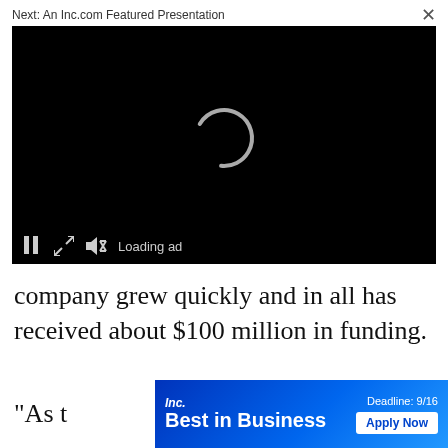Next: An Inc.com Featured Presentation
[Figure (screenshot): Video player with black background showing a loading spinner (partial white arc). Bottom controls show pause button, expand button, mute button, and 'Loading ad' text.]
company grew quickly and in all has received about $100 million in funding.
"As t
[Figure (other): Inc. Best in Business advertisement banner. Blue gradient background. Left side shows 'Inc.' logo and 'Best in Business' text in white bold. Right side shows 'Deadline: 9/16' and 'Apply Now' button in white.]